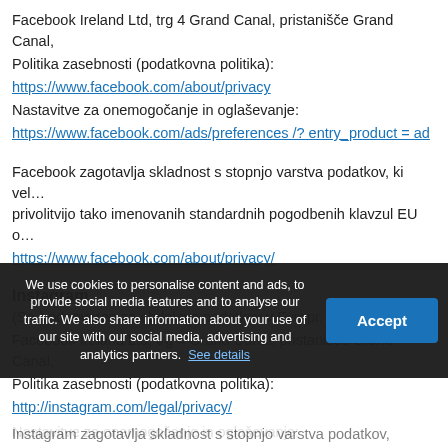Facebook Ireland Ltd, trg 4 Grand Canal, pristanišče Grand Canal,
Politika zasebnosti (podatkovna politika):
https://www.facebook.com/about/privacy
Nastavitve za onemogočanje in oglaševanje:
https://www.facebook.com/ads/preferences /? entry_product = ad
Facebook zagotavlja skladnost s stopnjo varstva podatkov, ki vel... privolitvijo tako imenovanih standardnih pogodbenih klavzul EU o...
https://www.facebook.com/about/privacy/
Instagram
(So-) odgovoren za obdelavo podatkov v Evropi:
Facebook Ireland Ltd, trg 4 Grand Canal, pristanišče Grand Canal,
Politika zasebnosti (podatkovna politika):
http://instagram.com/legal/privacy/
Nastavitve za onemogočanje in oglaševanje:
We use cookies to personalise content and ads, to provide social media features and to analyse our traffic. We also share information about your use of our site with our social media, advertising and analytics partners. See details
Instagram zagotavlja skladnost s stopnjo varstva podatkov,